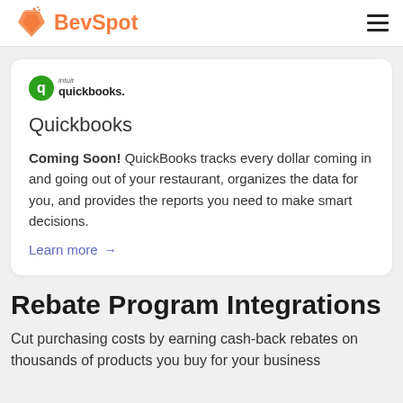BevSpot
[Figure (logo): Intuit QuickBooks logo with green circular icon and text 'intuit quickbooks']
Quickbooks
Coming Soon! QuickBooks tracks every dollar coming in and going out of your restaurant, organizes the data for you, and provides the reports you need to make smart decisions.
Learn more →
Rebate Program Integrations
Cut purchasing costs by earning cash-back rebates on thousands of products you buy for your business